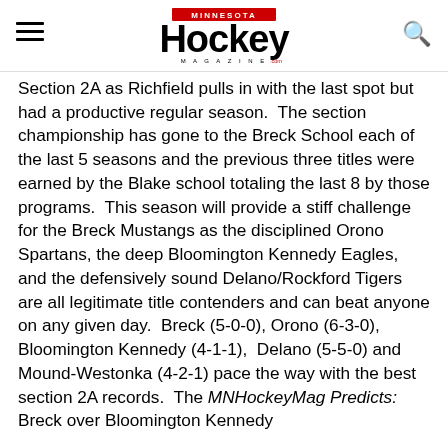Minnesota Hockey Magazine logo, hamburger menu, search icon
Section 2A as Richfield pulls in with the last spot but had a productive regular season.  The section championship has gone to the Breck School each of the last 5 seasons and the previous three titles were earned by the Blake school totaling the last 8 by those programs.  This season will provide a stiff challenge for the Breck Mustangs as the disciplined Orono Spartans, the deep Bloomington Kennedy Eagles, and the defensively sound Delano/Rockford Tigers are all legitimate title contenders and can beat anyone on any given day.  Breck (5-0-0), Orono (6-3-0), Bloomington Kennedy (4-1-1),  Delano (5-5-0) and Mound-Westonka (4-2-1) pace the way with the best section 2A records.  The MNHockeyMag Predicts:  Breck over Bloomington Kennedy